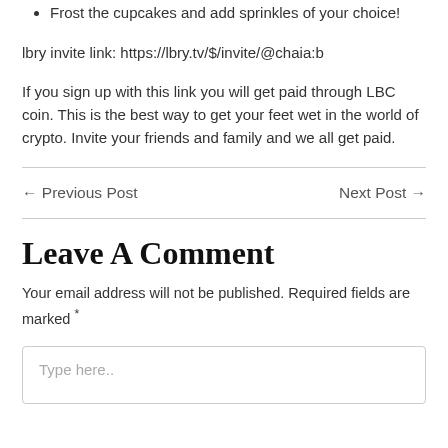Frost the cupcakes and add sprinkles of your choice!
lbry invite link: https://lbry.tv/$/invite/@chaia:b
If you sign up with this link you will get paid through LBC coin. This is the best way to get your feet wet in the world of crypto. Invite your friends and family and we all get paid.
← Previous Post
Next Post →
Leave A Comment
Your email address will not be published. Required fields are marked *
Type here..